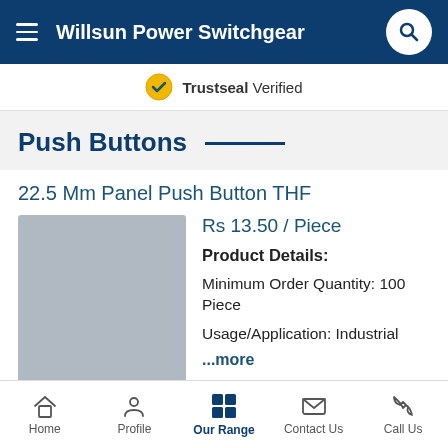Willsun Power Switchgear
Trustseal Verified
Push Buttons
22.5 Mm Panel Push Button THF
Rs 13.50 / Piece
Product Details:
Minimum Order Quantity: 100 Piece
Usage/Application: Industrial
...more
[Figure (photo): Product image placeholder for 22.5 Mm Panel Push Button THF]
Home  Profile  Our Range  Contact Us  Call Us